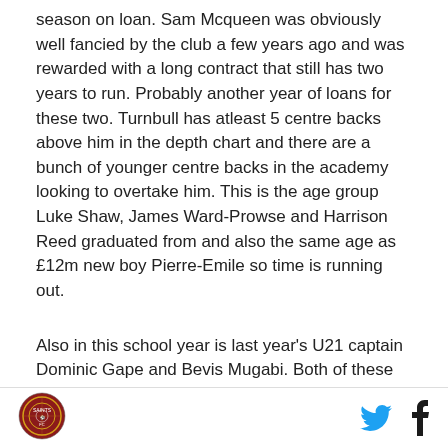season on loan. Sam Mcqueen was obviously well fancied by the club a few years ago and was rewarded with a long contract that still has two years to run. Probably another year of loans for these two. Turnbull has atleast 5 centre backs above him in the depth chart and there are a bunch of younger centre backs in the academy looking to overtake him. This is the age group Luke Shaw, James Ward-Prowse and Harrison Reed graduated from and also the same age as £12m new boy Pierre-Emile so time is running out.

Also in this school year is last year's U21 captain Dominic Gape and Bevis Mugabi. Both of these have a year left on their deals but missed the USA trip to have
[logo] [twitter] [facebook]